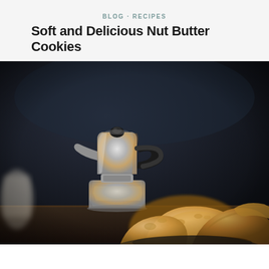BLOG · RECIPES
Soft and Delicious Nut Butter Cookies
[Figure (photo): A moka pot espresso maker in the background with a pile of golden-brown nut butter cookies in the foreground, set on a dark moody background]